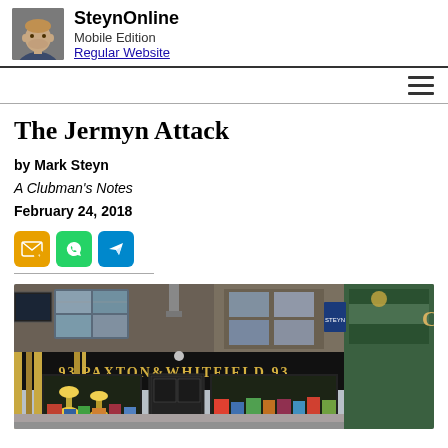SteynOnline Mobile Edition Regular Website
by Mark Steyn
A Clubman's Notes
February 24, 2018
The Jermyn Attack
[Figure (photo): Street-level photograph of Paxton & Whitfield cheese shop at 93 Jermyn Street, London. Dark storefront with gold lettering reading '93 PAXTON & WHITFIELD 93'. Shop window displays colourful products with yellow pendant lights. Adjacent green shopfront visible to the right.]